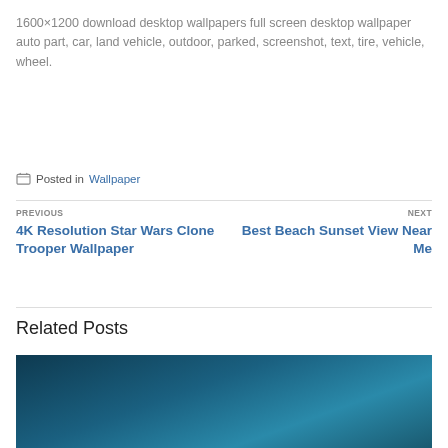1600×1200 download desktop wallpapers full screen desktop wallpaper auto part, car, land vehicle, outdoor, parked, screenshot, text, tire, vehicle, wheel.
Posted in Wallpaper
PREVIOUS
4K Resolution Star Wars Clone Trooper Wallpaper
NEXT
Best Beach Sunset View Near Me
Related Posts
[Figure (photo): Dark teal/blue background image, partially visible at bottom of page]